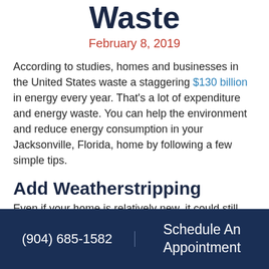Waste
February 8, 2019
According to studies, homes and businesses in the United States waste a staggering $130 billion in energy every year. That's a lot of expenditure and energy waste. You can help the environment and reduce energy consumption in your Jacksonville, Florida, home by following a few simple tips.
Add Weatherstripping
Even if your home is relatively new, it could still have problems with air leaks. The seams around doors, windows, light fixtures and pipes on external walls are the most common culprits
(904) 685-1582   Schedule An Appointment